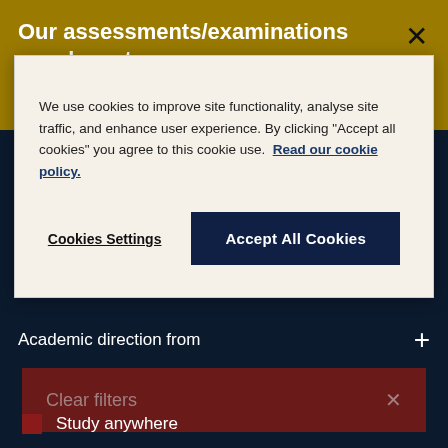Our assessments/examinations may have to
We use cookies to improve site functionality, analyse site traffic, and enhance user experience. By clicking "Accept all cookies" you agree to this cookie use. Read our cookie policy.
Cookies Settings
Accept All Cookies
Academic direction from
Clear filters
Study anywhere